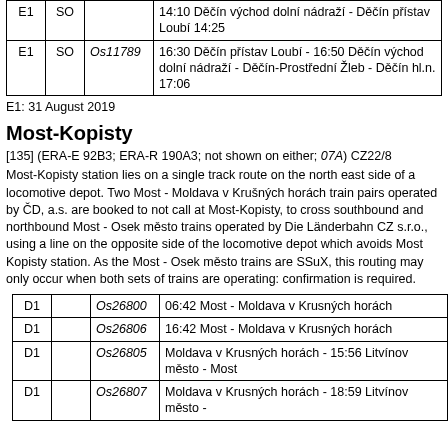| Code | Day | Train | Description |
| --- | --- | --- | --- |
| E1 | SO |  | 14:10 Děčín východ dolní nádraží - Děčín přístav Loubí 14:25 |
| E1 | SO | Os11789 | 16:30 Děčín přístav Loubí - 16:50 Děčín východ dolní nádraží - Děčín-Prostřední Žleb - Děčín hl.n. 17:06 |
E1: 31 August 2019
Most-Kopisty
[135] (ERA-E 92B3; ERA-R 190A3; not shown on either; 07A) CZ22/8
Most-Kopisty station lies on a single track route on the north east side of a locomotive depot. Two Most - Moldava v Krušných horách train pairs operated by ČD, a.s. are booked to not call at Most-Kopisty, to cross southbound and northbound Most - Osek město trains operated by Die Länderbahn CZ s.r.o., using a line on the opposite side of the locomotive depot which avoids Most Kopisty station. As the Most - Osek město trains are SSuX, this routing may only occur when both sets of trains are operating: confirmation is required.
| Code | Day | Train | Description |
| --- | --- | --- | --- |
| D1 |  | Os26800 | 06:42 Most - Moldava v Krusných horách |
| D1 |  | Os26806 | 16:42 Most - Moldava v Krusných horách |
| D1 |  | Os26805 | Moldava v Krusných horách - 15:56 Litvínov město - Most |
| D1 |  | Os26807 | Moldava v Krusných horách - 18:59 Litvínov město - |